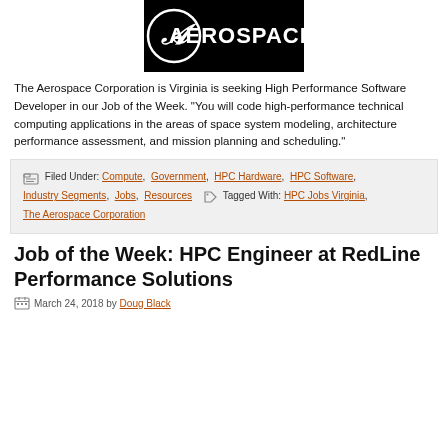[Figure (logo): Aerospace Corporation logo: circle with stylized A and text AEROSPACE on black background]
The Aerospace Corporation is Virginia is seeking High Performance Software Developer in our Job of the Week. “You will code high-performance technical computing applications in the areas of space system modeling, architecture performance assessment, and mission planning and scheduling.”
Filed Under: Compute, Government, HPC Hardware, HPC Software, Industry Segments, Jobs, Resources Tagged With: HPC Jobs Virginia, The Aerospace Corporation
Job of the Week: HPC Engineer at RedLine Performance Solutions
March 24, 2018 by Doug Black